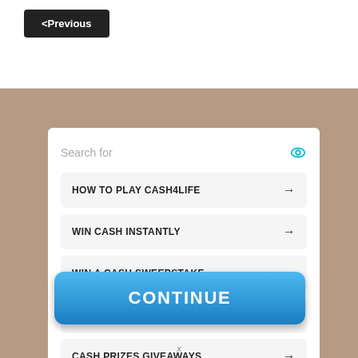< Previous
Search for
HOW TO PLAY CASH4LIFE →
WIN CASH INSTANTLY →
WIN A CASH SWEEPSTAKE →
INSTANT WIN GAMES AND →
CASH PRIZES GIVEAWAYS →
CONTINUE